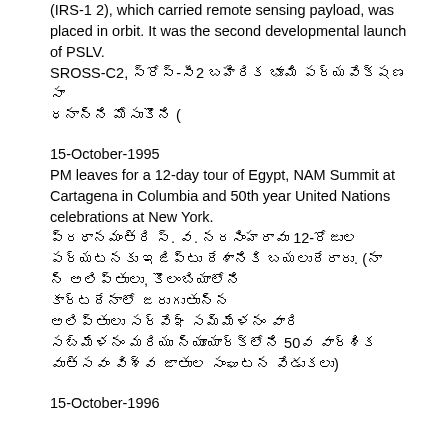(IRS-1 2), which carried remote sensing payload, was placed in orbit. It was the second developmental launch of PSLV. SROSS-C2, [Telugu text] (Sross-C2 2), [Telugu text].
15-October-1995
PM leaves for a 12-day tour of Egypt, NAM Summit at Cartagena in Columbia and 50th year United Nations celebrations at New York.
[Telugu text]
15-October-1996